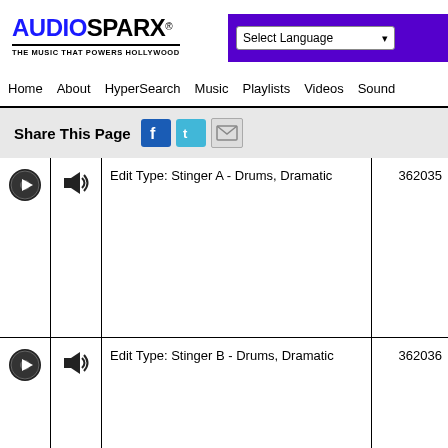AUDIOSPARX - THE MUSIC THAT POWERS HOLLYWOOD
Select Language
Home  About  HyperSearch  Music  Playlists  Videos  Sound
Share This Page
| Play | Vol | Info | ID |
| --- | --- | --- | --- |
| [play] | [vol] | Edit Type: Stinger A - Drums, Dramatic | 362035 |
| [play] | [vol] | Edit Type: Stinger B - Drums, Dramatic | 362036 |